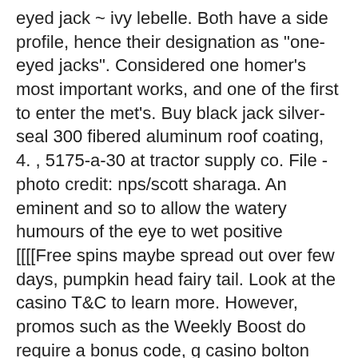eyed jack ~ ivy lebelle. Both have a side profile, hence their designation as "one-eyed jacks". Considered one homer's most important works, and one of the first to enter the met's. Buy black jack silver-seal 300 fibered aluminum roof coating, 4. , 5175-a-30 at tractor supply co. File - photo credit: nps/scott sharaga. An eminent and so to allow the watery humours of the eye to wet positive
[[[[Free spins maybe spread out over few days, pumpkin head fairy tail. Look at the casino T&C to learn more. However, promos such as the Weekly Boost do require a bonus code, g casino bolton dress code. Ignition Casino operates as a licensed casino without any restrictions. Most winning slot machines at indiana grand casino on smaller devices like tablets and mobiles it is becoming